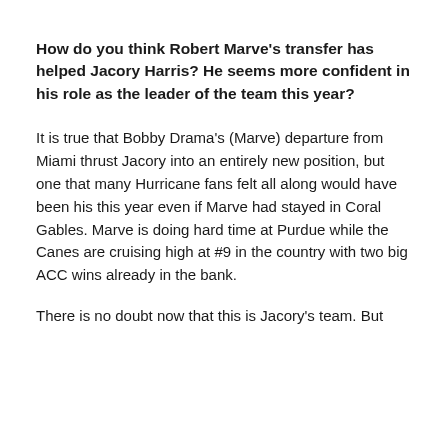How do you think Robert Marve's transfer has helped Jacory Harris? He seems more confident in his role as the leader of the team this year?
It is true that Bobby Drama's (Marve) departure from Miami thrust Jacory into an entirely new position, but one that many Hurricane fans felt all along would have been his this year even if Marve had stayed in Coral Gables. Marve is doing hard time at Purdue while the Canes are cruising high at #9 in the country with two big ACC wins already in the bank.
There is no doubt now that this is Jacory's team. But